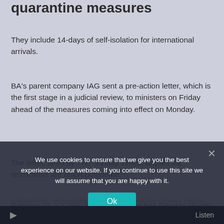quarantine measures
They include 14-days of self-isolation for international arrivals.
BA's parent company IAG sent a pre-action letter, which is the first stage in a judicial review, to ministers on Friday ahead of the measures coming into effect on Monday.
The letter, seen by The Sunday Times, argues the restrictions are disproportionate.
It states: “In our view, the Government has failed to identify a valid justification for the blanket nature of the
regulations, especially given the extremely severe nature of the self-isolation provisions that apply.
We use cookies to ensure that we give you the best experience on our website. If you continue to use this site we will assume that you are happy with it.